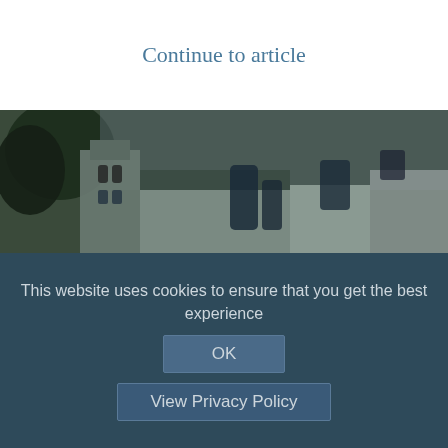Continue to article
[Figure (photo): Photograph of Holy Cross church, Scopwick — stone church building with gothic arched windows and dark slate roof, photographed in low light. Credit: NICK FRASER]
Permission granted: Holy Cross, Scopwick
THE Consistory Court of the diocese of Lincoln granted a faculty for the removal to the diocesan store of a five-and-a-half-cwt bell which had been stored for 41 years at the rear of Holy Cross, Scopwick, a Grade II* listed building that
This website uses cookies to ensure that you get the best experience
OK
View Privacy Policy